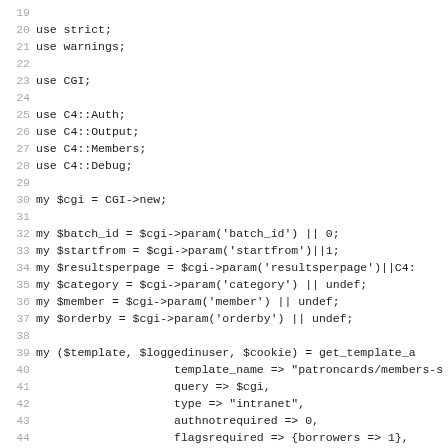Code listing lines 19-50: Perl script using CGI, C4::Auth, C4::Output, C4::Members, C4::Debug modules. Initializes CGI object, reads parameters (batch_id, startfrom, resultsperpage, category, member, orderby), calls get_template_and_user, sets orderby default, cleans member string.